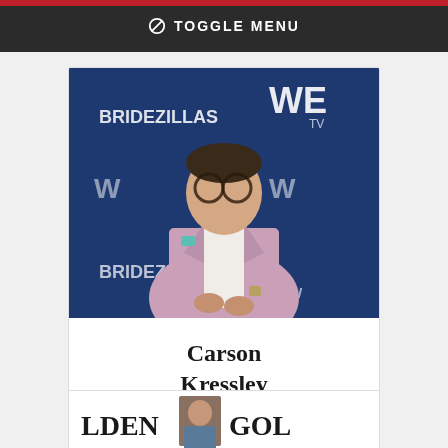⊘ TOGGLE MENU
[Figure (photo): Photo of Carson Kressley in a pink/mauve blazer with round glasses, standing in front of a blue WE TV / Bridezillas branded backdrop]
Carson Kressley
Vote for Carson Kressley
[Figure (photo): Partially visible card showing text 'LDEN' and 'GOL' with a small portrait photo in between — another nominee card cropped at bottom]